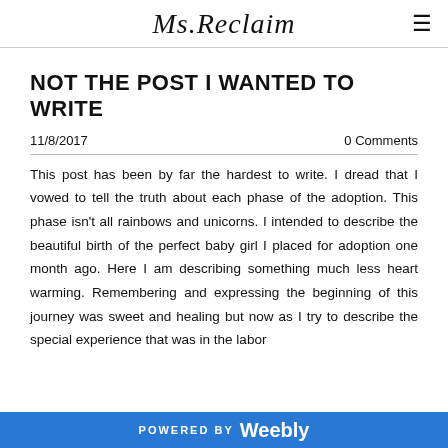Ms.Reclaim
NOT THE POST I WANTED TO WRITE
11/8/2017
0 Comments
This post has been by far the hardest to write. I dread that I vowed to tell the truth about each phase of the adoption. This phase isn't all rainbows and unicorns. I intended to describe the beautiful birth of the perfect baby girl I placed for adoption one month ago. Here I am describing something much less heart warming. Remembering and expressing the beginning of this journey was sweet and healing but now as I try to describe the special experience that was in the labor
POWERED BY Weebly